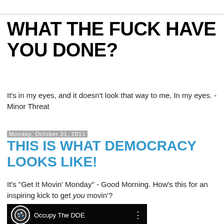WHAT THE FUCK HAVE YOU DONE?
It's in my eyes, and it doesn't look that way to me, In my eyes. - Minor Threat
Monday, October 31, 2011
THIS IS WHAT DEMOCRACY LOOKS LIKE!
It's "Get It Movin' Monday" - Good Morning. How's this for an inspiring kick to get you movin'?
[Figure (screenshot): Embedded video thumbnail showing 'Occupy The DOE' with a circular logo and crowd in background]